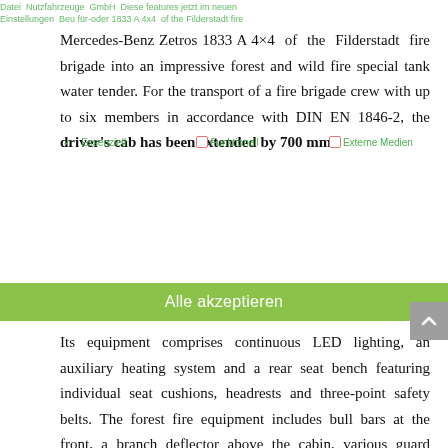Datei Nutzfahrzeuge GmbH Diese Features jetzt im neuen Einstellungen Beu für-oder 1833 A 4x4 of the Filderstadt fire
Mercedes-Benz Zetros 1833 A 4×4 of the Filderstadt fire brigade into an impressive forest and wild fire special tank water tender. For the transport of a fire brigade crew with up to six members in accordance with DIN EN 1846-2, the driver's cab has been extended by 700 mm. Its equipment comprises continuous LED lighting, an auxiliary heating system and a rear seat bench featuring individual seat cushions, headrests and three-point safety belts. The forest fire equipment includes bull bars at the front, a branch deflector above the cabin, various guard brackets on the exterior lighting devices and a special foothold at the rear that can be folded up and safely locked during off-road drives. The heat insulation of all electrical cables and pneumatic lines on the frame and the axles has been fixed by using stainless steel clamps. All important power units such as the engine, fuel tank and compressor are protected by metal plates against damages caused by stumps or scrubs.
Alle akzeptieren